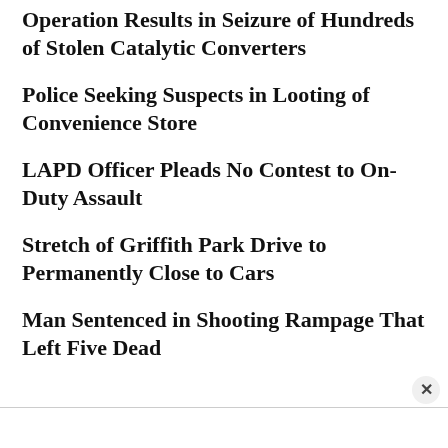Operation Results in Seizure of Hundreds of Stolen Catalytic Converters
Police Seeking Suspects in Looting of Convenience Store
LAPD Officer Pleads No Contest to On-Duty Assault
Stretch of Griffith Park Drive to Permanently Close to Cars
Man Sentenced in Shooting Rampage That Left Five Dead